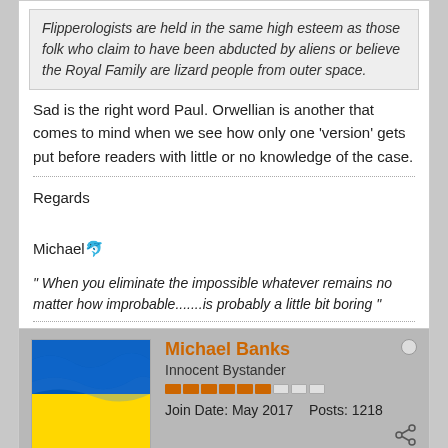Flipperologists are held in the same high esteem as those folk who claim to have been abducted by aliens or believe the Royal Family are lizard people from outer space.
Sad is the right word Paul. Orwellian is another that comes to mind when we see how only one 'version' gets put before readers with little or no knowledge of the case.
Regards

Michael🐬
" When you eliminate the impossible whatever remains no matter how improbable.......is probably a little bit boring "
Michael Banks
Innocent Bystander
Join Date: May 2017    Posts: 1218
January 4, 2022, 06:53 PM
#203
To be honest I think that history is now a subject that's there to be